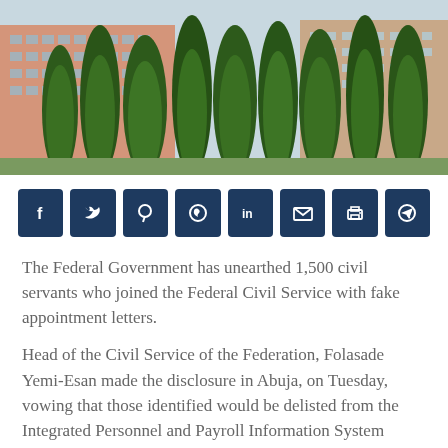[Figure (photo): Photograph of a government building with pink/terracotta facade and tall trees in the foreground]
[Figure (infographic): Row of 8 social media share buttons: Facebook, Twitter, Pinterest, WhatsApp, LinkedIn, Email, Print, Telegram — dark navy blue rounded square icons]
The Federal Government has unearthed 1,500 civil servants who joined the Federal Civil Service with fake appointment letters.
Head of the Civil Service of the Federation, Folasade Yemi-Esan made the disclosure in Abuja, on Tuesday, vowing that those identified would be delisted from the Integrated Personnel and Payroll Information System (IPPIS).